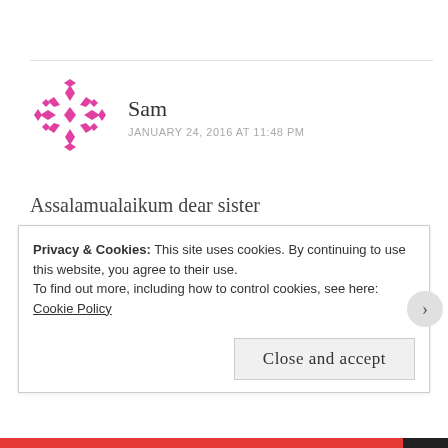[Figure (illustration): Pink/magenta geometric snowflake-style avatar icon for user Sam]
Sam
JANUARY 24, 2016 AT 11:48 PM
Assalamualaikum dear sister
Jazakillahukhairan katheeran for the wonderful article. To be honest this is exactly what I faced in first yr of my marriage. I stopped for a min and started to think if I have written this article 😛
Privacy & Cookies: This site uses cookies. By continuing to use this website, you agree to their use.
To find out more, including how to control cookies, see here: Cookie Policy
Close and accept